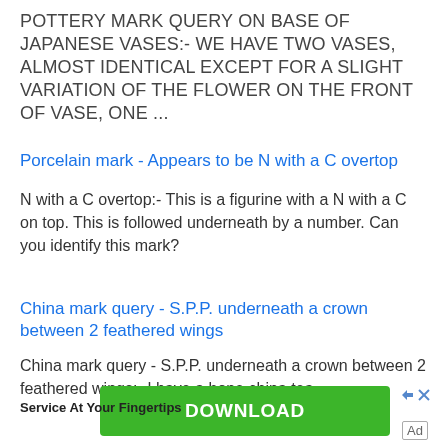POTTERY MARK QUERY ON BASE OF JAPANESE VASES:- WE HAVE TWO VASES, ALMOST IDENTICAL EXCEPT FOR A SLIGHT VARIATION OF THE FLOWER ON THE FRONT OF VASE, ONE ...
Porcelain mark - Appears to be N with a C overtop
N with a C overtop:- This is a figurine with a N with a C on top. This is followed underneath by a number. Can you identify this mark?
China mark query - S.P.P. underneath a crown between 2 feathered wings
China mark query - S.P.P. underneath a crown between 2 feathered wings:- I have a bone china tea
[Figure (other): Green DOWNLOAD button advertisement banner with forward/close icons]
Service At Your Fingertips
Ad